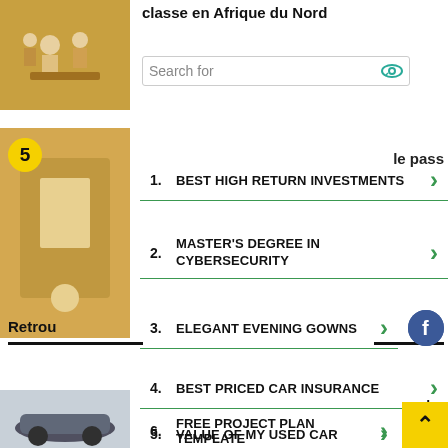classe en Afrique du Nord
Search for
1. BEST HIGH RETURN INVESTMENTS
le pass
2. MASTER'S DEGREE IN CYBERSECURITY
Retrou
3. ELEGANT EVENING GOWNS
4. BEST PRICED CAR INSURANCE
5. VALUE OF MY USED CAR
6. FREE PROJECT PLAN TEMPLATE